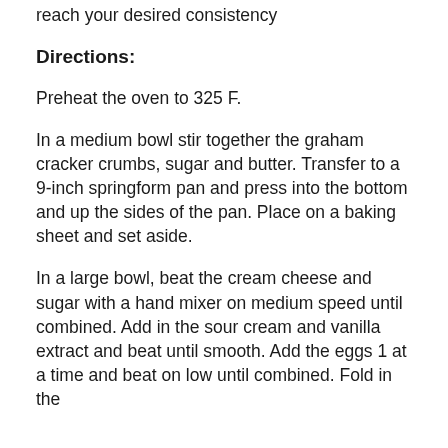reach your desired consistency
Directions:
Preheat the oven to 325 F.
In a medium bowl stir together the graham cracker crumbs, sugar and butter. Transfer to a 9-inch springform pan and press into the bottom and up the sides of the pan. Place on a baking sheet and set aside.
In a large bowl, beat the cream cheese and sugar with a hand mixer on medium speed until combined. Add in the sour cream and vanilla extract and beat until smooth. Add the eggs 1 at a time and beat on low until combined. Fold in the